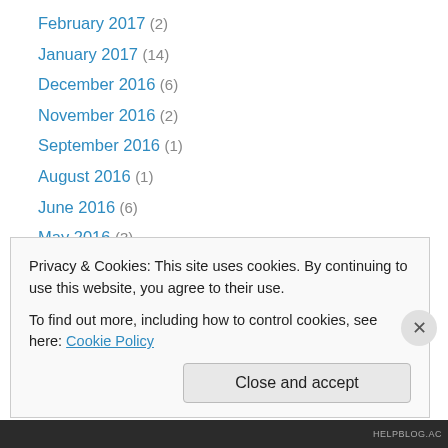February 2017 (2)
January 2017 (14)
December 2016 (6)
November 2016 (2)
September 2016 (1)
August 2016 (1)
June 2016 (6)
May 2016 (3)
April 2016 (3)
March 2016 (4)
February 2016 (6)
January 2016 (4)
December 2015 (2)
Privacy & Cookies: This site uses cookies. By continuing to use this website, you agree to their use. To find out more, including how to control cookies, see here: Cookie Policy
Close and accept